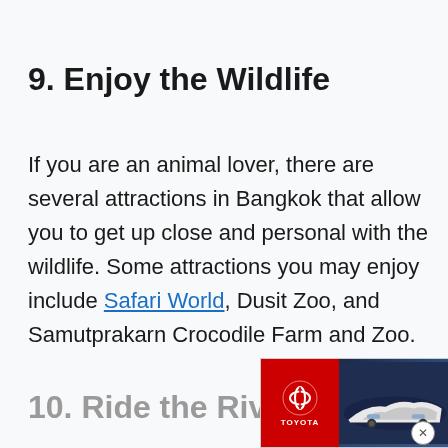9. Enjoy the Wildlife
If you are an animal lover, there are several attractions in Bangkok that allow you to get up close and personal with the wildlife. Some attractions you may enjoy include Safari World, Dusit Zoo, and Samutprakarn Crocodile Farm and Zoo.
10. Ride the Riverfront Fe...
[Figure (other): Toyota advertisement banner showing cars and text 'SEARCH THE LARGEST SELECTION OF INVENTORY' with a SHOP TOYOTA button and close (X) button]